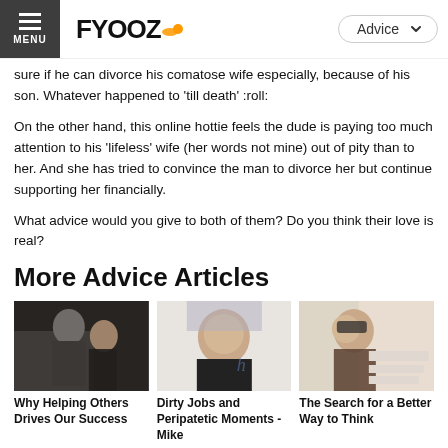MENU | FYOOZ. | Advice
sure if he can divorce his comatose wife especially, because of his son. Whatever happened to 'till death' :roll:
On the other hand, this online hottie feels the dude is paying too much attention to his 'lifeless' wife (her words not mine) out of pity than to her. And she has tried to convince the man to divorce her but continue supporting her financially.
What advice would you give to both of them? Do you think their love is real?
More Advice Articles
[Figure (photo): Two men, one in a suit and one in casual clothes with a red beanie hat, shaking hands or exchanging something outdoors]
[Figure (photo): Middle-aged man with short hair smiling, wearing a dark v-neck shirt, with a blurred background]
[Figure (photo): Young man with glasses sitting at a desk with papers, looking thoughtful with hand on chin]
Why Helping Others Drives Our Success
Dirty Jobs and Peripatetic Moments - Mike
The Search for a Better Way to Think